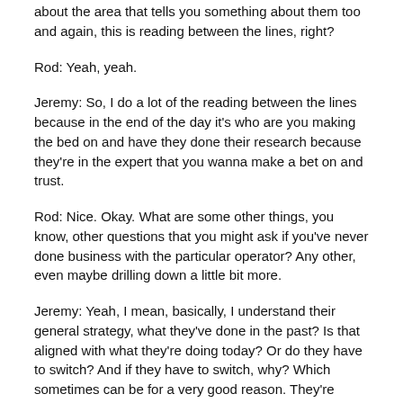about the area that tells you something about them too and again, this is reading between the lines, right?
Rod: Yeah, yeah.
Jeremy: So, I do a lot of the reading between the lines because in the end of the day it's who are you making the bed on and have they done their research because they're in the expert that you wanna make a bet on and trust.
Rod: Nice. Okay. What are some other things, you know, other questions that you might ask if you've never done business with the particular operator? Any other, even maybe drilling down a little bit more.
Jeremy: Yeah, I mean, basically, I understand their general strategy, what they've done in the past? Is that aligned with what they're doing today? Or do they have to switch? And if they have to switch, why? Which sometimes can be for a very good reason. They're switching strategies. I definitely would want understand how they handle the cycle and how they kind of manage a cycle because I could tell you, personally, I